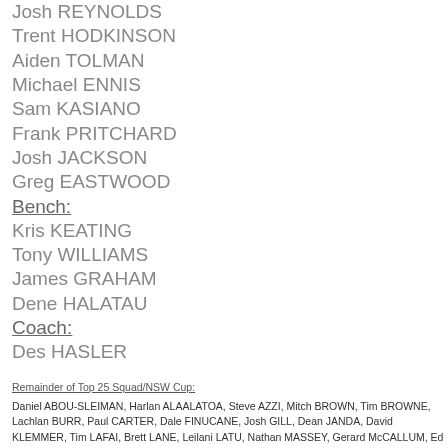Josh REYNOLDS
Trent HODKINSON
Aiden TOLMAN
Michael ENNIS
Sam KASIANO
Frank PRITCHARD
Josh JACKSON
Greg EASTWOOD
Bench:
Kris KEATING
Tony WILLIAMS
James GRAHAM
Dene HALATAU
Coach:
Des HASLER
Remainder of Top 25 Squad/NSW Cup:
Daniel ABOU-SLEIMAN, Harlan ALAALATOA, Steve AZZI, Mitch BROWN, Tim BROWNE, Lachlan BURR, Paul CARTER, Dale FINUCANE, Josh GILL, Dean JANDA, David KLEMMER, Tim LAFAI, Brett LANE, Leilani LATU, Nathan MASSEY, Gerard McCALLUM, Ed MURPHY, Junior PALAU,  Joel ROMELO, Jon Talioe SILA, Martin TAUPAU .
Notables from U20s: